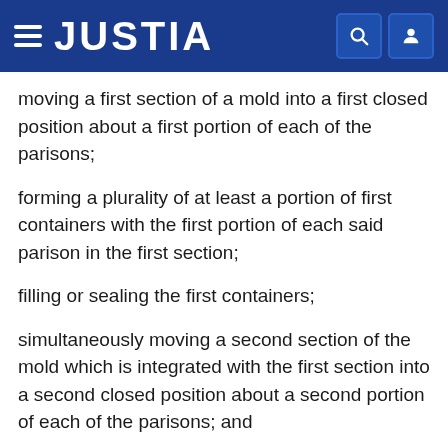JUSTIA
moving a first section of a mold into a first closed position about a first portion of each of the parisons;
forming a plurality of at least a portion of first containers with the first portion of each said parison in the first section;
filling or sealing the first containers;
simultaneously moving a second section of the mold which is integrated with the first section into a second closed position about a second portion of each of the parisons; and
forming a plurality of at least a portion of second containers, tiered with respect to the first containers, with the second portion of each said parison in the second section;